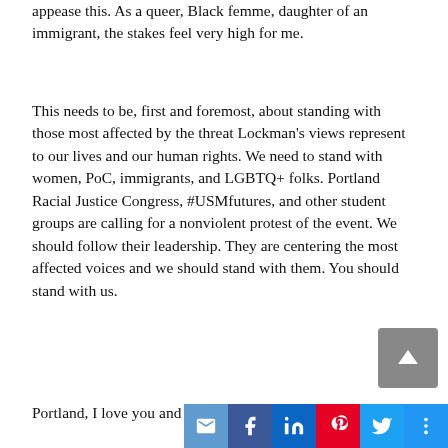appease this. As a queer, Black femme, daughter of an immigrant, the stakes feel very high for me.
This needs to be, first and foremost, about standing with those most affected by the threat Lockman's views represent to our lives and our human rights. We need to stand with women, PoC, immigrants, and LGBTQ+ folks. Portland Racial Justice Congress, #USMfutures, and other student groups are calling for a nonviolent protest of the event. We should follow their leadership. They are centering the most affected voices and we should stand with them. You should stand with us.
Portland, I love you and I'mma need you to...